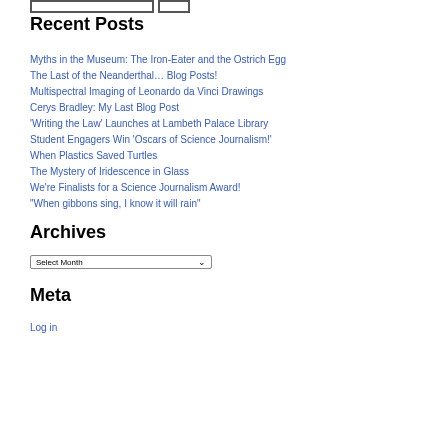[Figure (other): Search bar with input box and button at top]
Recent Posts
Myths in the Museum: The Iron-Eater and the Ostrich Egg
The Last of the Neanderthal… Blog Posts!
Multispectral Imaging of Leonardo da Vinci Drawings
Cerys Bradley: My Last Blog Post
'Writing the Law' Launches at Lambeth Palace Library
Student Engagers Win 'Oscars of Science Journalism!'
When Plastics Saved Turtles
The Mystery of Iridescence in Glass
We're Finalists for a Science Journalism Award!
“When gibbons sing, I know it will rain”
Archives
Select Month
Meta
Log in